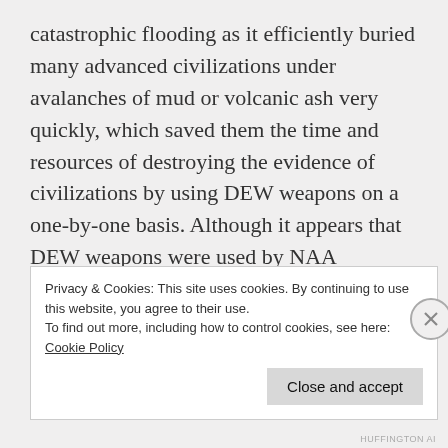catastrophic flooding as it efficiently buried many advanced civilizations under avalanches of mud or volcanic ash very quickly, which saved them the time and resources of destroying the evidence of civilizations by using DEW weapons on a one-by-one basis. Although it appears that DEW weapons were used by NAA thousands of years ago on the Earth during specific Christos missions on the ground in order to obliterate access to technological devices and structures being used to
Privacy & Cookies: This site uses cookies. By continuing to use this website, you agree to their use.
To find out more, including how to control cookies, see here: Cookie Policy
Close and accept